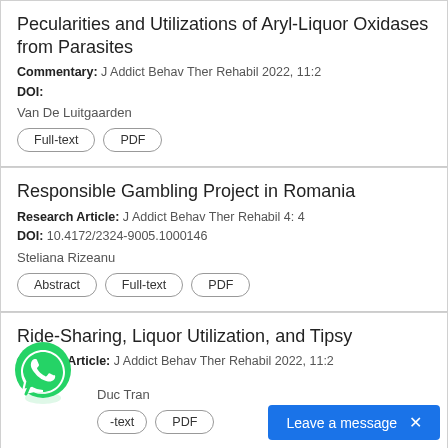Pecularities and Utilizations of Aryl-Liquor Oxidases from Parasites
Commentary: J Addict Behav Ther Rehabil 2022, 11:2
DOI:
Van De Luitgaarden
Full-text
PDF
Responsible Gambling Project in Romania
Research Article: J Addict Behav Ther Rehabil 4: 4
DOI: 10.4172/2324-9005.1000146
Steliana Rizeanu
Abstract
Full-text
PDF
Ride-Sharing, Liquor Utilization, and Tipsy
Opinion Article: J Addict Behav Ther Rehabil 2022, 11:2
Duc Tran
Full-text
PDF
[Figure (logo): WhatsApp green phone icon bubble]
Leave a message  X